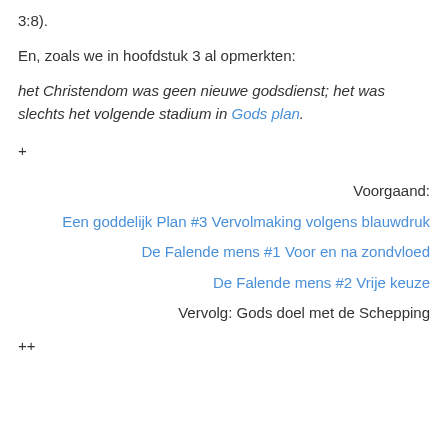3:8).
En, zoals we in hoofdstuk 3 al opmerkten:
het Christendom was geen nieuwe godsdienst; het was slechts het volgende stadium in Gods plan.
+
Voorgaand:
Een goddelijk Plan #3 Vervolmaking volgens blauwdruk
De Falende mens #1 Voor en na zondvloed
De Falende mens #2 Vrije keuze
Vervolg: Gods doel met de Schepping
++